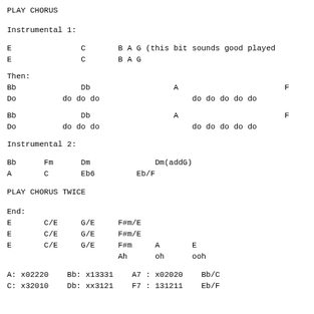PLAY CHORUS
Instrumental 1:
E               C       B A G (this bit sounds good played
E               C       B A G
Then:
Bb              Db                  A                       F
Do          do do do                    do do do do do

Bb              Db                  A                       F
Do          do do do                    do do do do do
Instrumental 2:
Bb      Fm      Dm              Dm(addG)
A       C       Eb6         Eb/F
PLAY CHORUS TWICE
End:
E       C/E     G/E     F#m/E
E       C/E     G/E     F#m/E
E       C/E     G/E     F#m     A       E
                        Ah      oh      ooh
A: x02220    Bb: x13331    A7 : x02020    Bb/C
C: x32010    Db: xx3121    F7 : 131211    Eb/F